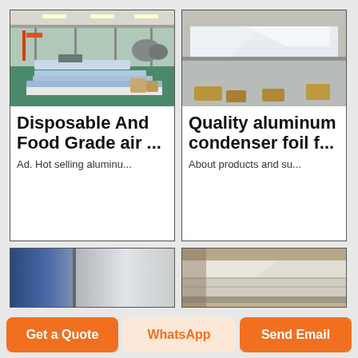[Figure (photo): Industrial aluminum sheet manufacturing facility interior with large aluminum sheets on production floor]
Disposable And Food Grade air ...
Ad. Hot selling aluminu...
[Figure (photo): Aluminum condenser foil sheets stacked, silver metallic surface close-up]
Quality aluminum condenser foil f...
About products and su...
[Figure (photo): Partial view of blue/silver aluminum sheet product card]
[Figure (photo): Partial view of aluminum sheet product card]
Get a Quote
WhatsApp
Send Email